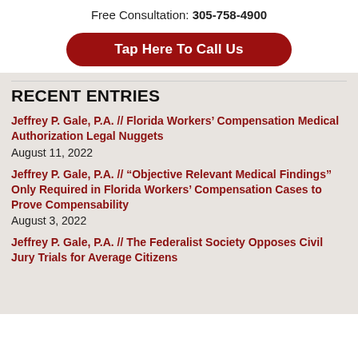Free Consultation: 305-758-4900
Tap Here To Call Us
RECENT ENTRIES
Jeffrey P. Gale, P.A. // Florida Workers' Compensation Medical Authorization Legal Nuggets
August 11, 2022
Jeffrey P. Gale, P.A. // “Objective Relevant Medical Findings” Only Required in Florida Workers’ Compensation Cases to Prove Compensability
August 3, 2022
Jeffrey P. Gale, P.A. // The Federalist Society Opposes Civil Jury Trials for Average Citizens